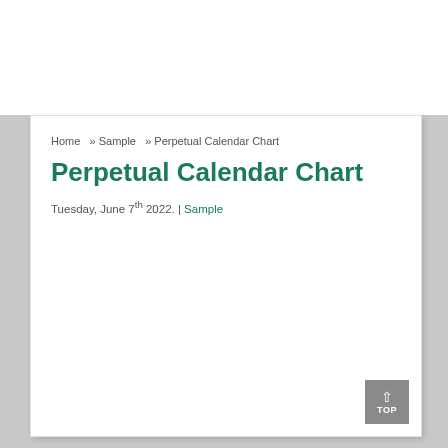Home » Sample » Perpetual Calendar Chart
Perpetual Calendar Chart
Tuesday, June 7th 2022. | Sample